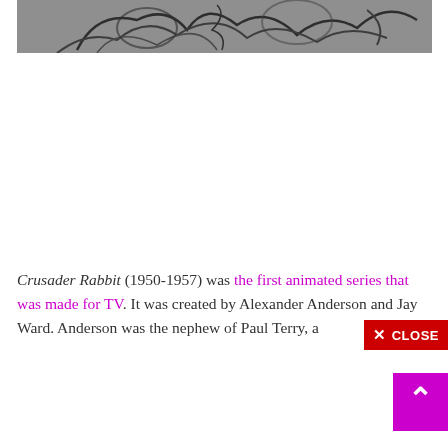[Figure (illustration): Grayscale cartoon/sketch image showing animated characters, partially cropped at top of page]
Crusader Rabbit (1950-1957) was the first animated series that was made for TV. It was created by Alexander Anderson and Jay Ward. Anderson was the nephew of Paul Terry, a